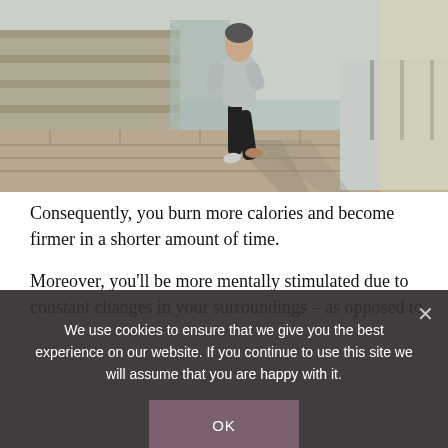[Figure (photo): Person running outdoors on a paved path beside a stone wall, wearing grey jacket and black leggings, sunlight casting shadows.]
Consequently, you burn more calories and become firmer in a shorter amount of time.
Moreover, you'll be more mentally stimulated due to constant changes in your surroundings – as opposed to
We use cookies to ensure that we give you the best experience on our website. If you continue to use this site we will assume that you are happy with it.
OK